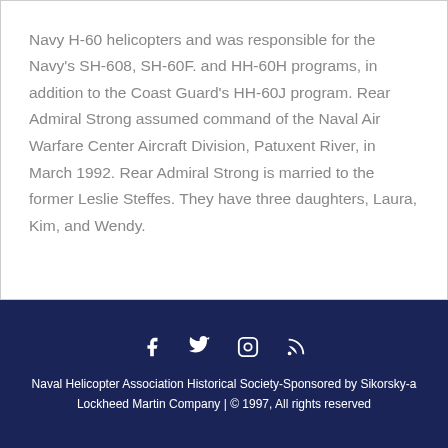Navy H-60 helicopters and was responsible for the Navy's SH-608, SH-60F. and HH-60H programs, in addition to the Coast Guard's HH-60J program. Rear Admiral Strong assumed command of the Naval Air Warfare Center Aircraft Division, Patuxent River, in March 1992. Rear Admiral Strong is married to the former Leslie Steffes. They have three daughters, Laura, Kim, and Wendy.
Naval Helicopter Association Historical Society-Sponsored by Sikorsky-a Lockheed Martin Company | © 1997, All rights reserved